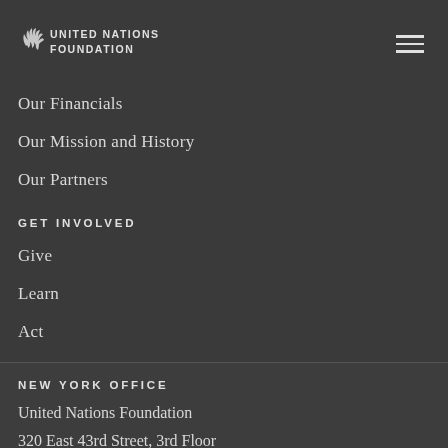United Nations Foundation
Our Financials
Our Mission and History
Our Partners
GET INVOLVED
Give
Learn
Act
NEW YORK OFFICE
United Nations Foundation
320 East 43rd Street, 3rd Floor